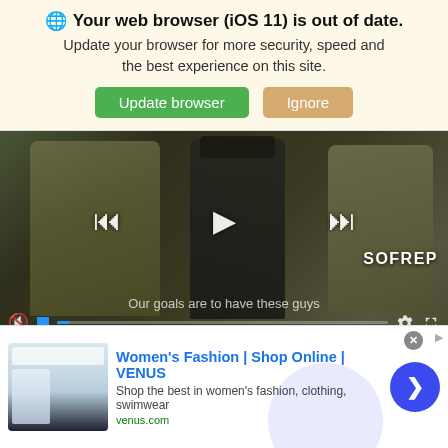🌐 Your web browser (iOS 11) is out of date. Update your browser for more security, speed and the best experience on this site.
[Figure (screenshot): Video player showing military personnel in camouflage, with playback controls (skip back, play, skip forward), mute button, blue progress dot, subtitle text 'Our goals are to have these guys', SOFREP logo, gear and fullscreen icons]
Land Navigation: The
[Figure (screenshot): Advertisement banner for Women's Fashion | Shop Online | VENUS. Shows thumbnail of fashion website, ad title in blue, description 'Shop the best in women's fashion, clothing, swimwear', URL venus.com, blue arrow button, close X button, ad info icon]